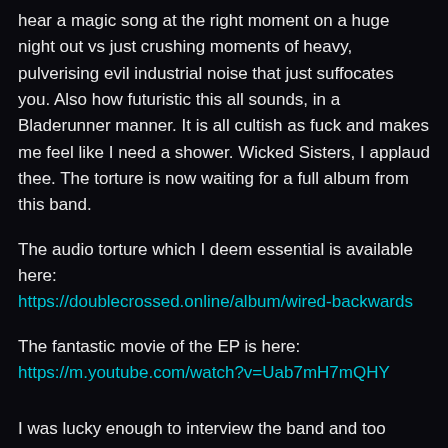hear a magic song at the right moment on a huge night out vs just crushing moments of heavy, pulverising evil industrial noise that just suffocates you. Also how futuristic this all sounds, in a Bladerunner manner. It is all cultish as fuck and makes me feel like I need a shower. Wicked Sisters, I applaud thee. The torture is now waiting for a full album from this band.
The audio torture which I deem essential is available here: https://doublecrossed.online/album/wired-backwards
The fantastic movie of the EP is here: https://m.youtube.com/watch?v=Uab7mH7mQHY
I was lucky enough to interview the band and too often, and honestly 90% of the time bands give lame, vague and boring answers. It shows when people such as this band actually take the time to answer questions well and are dedicated to their